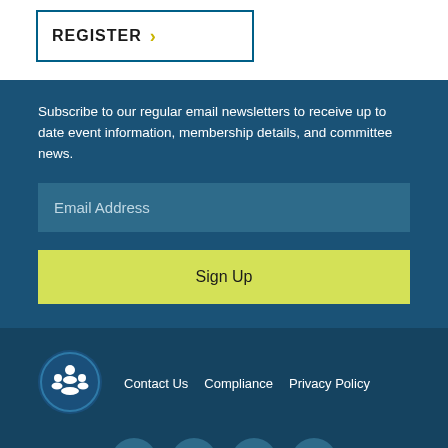REGISTER >
Subscribe to our regular email newsletters to receive up to date event information, membership details, and committee news.
Email Address
Sign Up
[Figure (logo): Circular logo with white icon on dark blue background]
Contact Us   Compliance   Privacy Policy
[Figure (illustration): Social media icons: Facebook, LinkedIn, Twitter, Instagram]